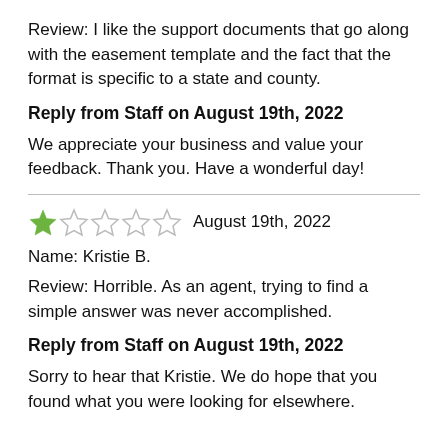Review: I like the support documents that go along with the easement template and the fact that the format is specific to a state and county.
Reply from Staff on August 19th, 2022
We appreciate your business and value your feedback. Thank you. Have a wonderful day!
[Figure (other): 1 out of 5 stars rating (one filled green star, four empty stars), followed by date August 19th, 2022]
Name: Kristie B.
Review: Horrible. As an agent, trying to find a simple answer was never accomplished.
Reply from Staff on August 19th, 2022
Sorry to hear that Kristie. We do hope that you found what you were looking for elsewhere.